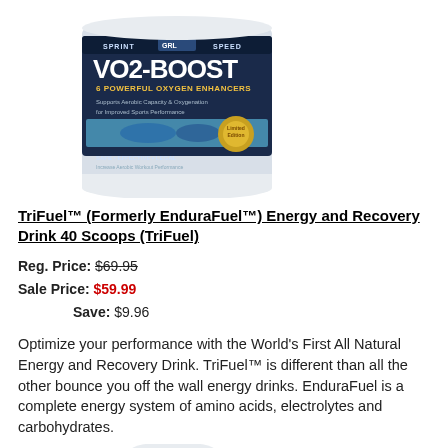[Figure (photo): VO2-BOOST supplement tub product image — white cylindrical container with dark blue label reading 'VO2-BOOST 6 POWERFUL OXYGEN ENHANCERS', showing a gold badge and water imagery, SPRINT SPEED text at top, GRL logo]
TriFuel™ (Formerly EnduraFuel™) Energy and Recovery Drink 40 Scoops (TriFuel)
Reg. Price: $69.95
Sale Price: $59.99
Save: $9.96
Optimize your performance with the World's First All Natural Energy and Recovery Drink. TriFuel™ is different than all the other bounce you off the wall energy drinks. EnduraFuel is a complete energy system of amino acids, electrolytes and carbohydrates.
[Figure (photo): Partial view of another supplement container at the bottom of the page]